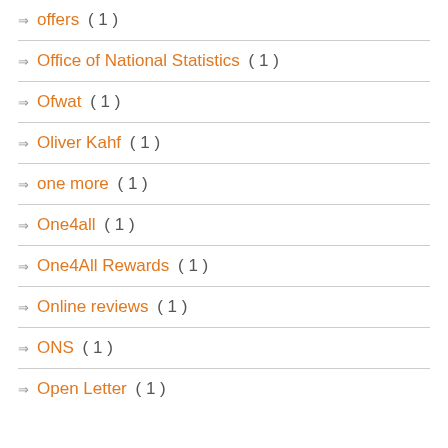offers ( 1 )
Office of National Statistics ( 1 )
Ofwat ( 1 )
Oliver Kahf ( 1 )
one more ( 1 )
One4all ( 1 )
One4All Rewards ( 1 )
Online reviews ( 1 )
ONS ( 1 )
Open Letter ( 1 )